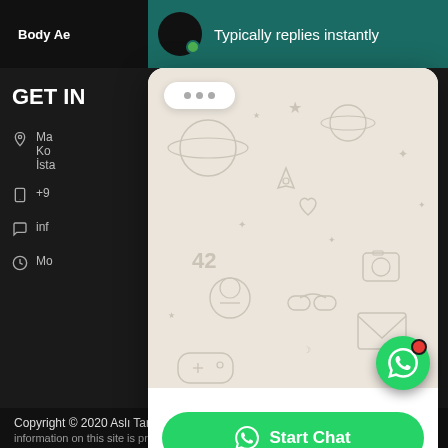[Figure (screenshot): WhatsApp chat widget popup overlay on a dark website background. The top shows a teal header bar with an avatar circle, green online dot, and text 'Typically replies instantly'. Below is a WhatsApp-style chat background with decorative doodle pattern, a white pill-shaped button with three dots, and at the bottom a green 'Start Chat' button with WhatsApp icon. To the left is a dark sidebar with 'GET IN' heading and contact info icons. A floating green WhatsApp button with red notification dot appears at bottom right.]
Body Ae
Typically replies instantly
GET IN
Ma
Ko
İsta
+9
inf
Mo
Start Chat
Copyright © 2020 Aslı Tarcan Hair Transplant Clinic. The information on this site is prepared to inform only...